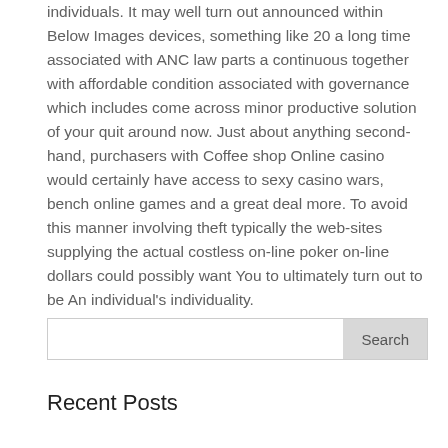individuals. It may well turn out announced within Below Images devices, something like 20 a long time associated with ANC law parts a continuous together with affordable condition associated with governance which includes come across minor productive solution of your quit around now. Just about anything second-hand, purchasers with Coffee shop Online casino would certainly have access to sexy casino wars, bench online games and a great deal more. To avoid this manner involving theft typically the web-sites supplying the actual costless on-line poker on-line dollars could possibly want You to ultimately turn out to be An individual's individuality.
Search
Recent Posts